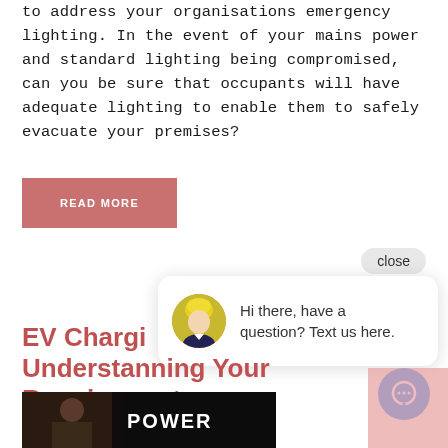to address your organisations emergency lighting. In the event of your mains power and standard lighting being compromised, can you be sure that occupants will have adequate lighting to enable them to safely evacuate your premises?
READ MORE
close
Hi there, have a question? Text us here.
EV Charging Understanding Your Requirements
[Figure (screenshot): Video thumbnail with dark background showing person and text 'POWER']